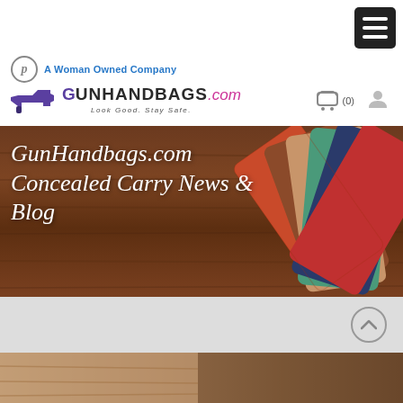A Woman Owned Company
[Figure (logo): GunHandbags.com logo with gun icon and tagline 'Look Good. Stay Safe.']
[Figure (photo): Hero banner image showing colorful leather handbags fanned out on a wooden background with text 'GunHandbags.com Concealed Carry News & Blog']
GunHandbags.com Concealed Carry News & Blog